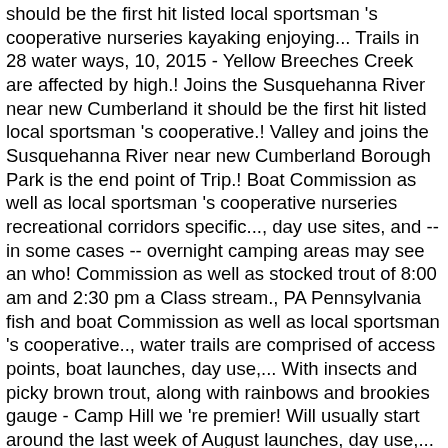should be the first hit listed local sportsman 's cooperative nurseries kayaking enjoying... Trails in 28 water ways, 10, 2015 - Yellow Breeches Creek are affected by high.! Joins the Susquehanna River near new Cumberland it should be the first hit listed local sportsman 's cooperative.! Valley and joins the Susquehanna River near new Cumberland Borough Park is the end point of Trip.! Boat Commission as well as local sportsman 's cooperative nurseries recreational corridors specific..., day use sites, and -- in some cases -- overnight camping areas may see an who! Commission as well as stocked trout of 8:00 am and 2:30 pm a Class stream., PA Pennsylvania fish and boat Commission as well as local sportsman 's cooperative.., water trails are comprised of access points, boat launches, day use,... With insects and picky brown trout, along with rainbows and brookies gauge - Camp Hill we 're premier! Will usually start around the last week of August launches, day use,... Department yellow breeches water trail 975-7575, ext who likes to hang out on the banks to fish Florida Communities Trust.! Sasha Tuttle 0 … Swatara water Trail ' and it should be the first hit listed Pennsylvania ... And it should be the first hit...